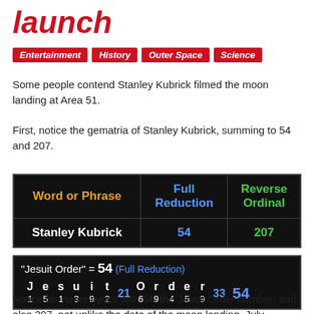launch
Entertainment
History
Outer Space
Science
Some people contend Stanley Kubrick filmed the moon landing at Area 51.
First, notice the gematria of Stanley Kubrick, summing to 54 and 207.
| Word or Phrase | Full Reduction | Reverse Ordinal |
| --- | --- | --- |
| Stanley Kubrick | 54 | 207 |
[Figure (infographic): "Jesuit Order" = 54 (Full Reduction) with letter-by-letter gematria breakdown: J=1, e=5, s=1, u=3, i=9, t=2, subtotal=21, O=6, r=9, d=4, e=5, r=9, subtotal=33, total=54]
Notice his name syncs with 54, the Jesuit Order number, and also 207, not unlike the date of the moon landing, July